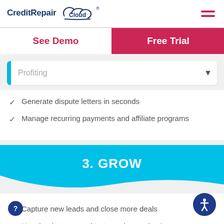[Figure (logo): CreditRepair Cloud logo with cloud icon and registered trademark symbol]
[Figure (other): Hamburger menu icon with three horizontal pink/red lines]
See Demo
Free Trial
Profiting
Generate dispute letters in seconds
Manage recurring payments and affiliate programs
3. GROW
Capture new leads and close more deals
Use the data you gather to scale your business